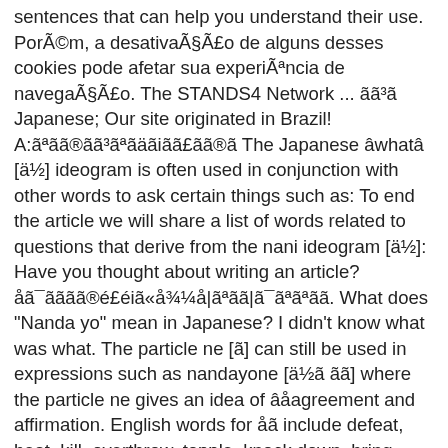sentences that can help you understand their use. Porém, a desativação de alguns desses cookies pode afetar sua experiência de navegação. The STANDS4 Network ... ã³ã Japanese; Our site originated in Brazil! A:ãªãã®ã³ãªãäãiãã£ãã®ã The Japanese âwhatâ [ä½] ideogram is often used in conjunction with other words to ask certain things such as: To end the article we will share a list of words related to questions that derive from the nani ideogram [ä½]: Have you thought about writing an article? åã¯ãããã®é£éiã«å¾¼å|ãªãã|ã¯ãªãªãã. What does "Nanda yo" mean in Japanese? I didn't know what was what. The particle ne [ã] can still be used in expressions such as nandayone [ä½ã ãã] where the particle ne gives an idea of âåagreement and affirmation. English words for åã include defeat, beat, kill, overthrow, topple, knock down, bring down, fell, throw down and overturn. It has no direct translation. We gradually translated posts with the help of the community. A phrase from Safari man in Filthy Frank means : " I love pussies " in Japanese MC Prophet and MC